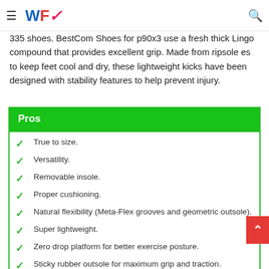WF [logo] navigation bar with hamburger menu and search icon
335 shoes. BestCom Shoes for p90x3 use a fresh thick Lingo compound that provides excellent grip. Made from ripsole es to keep feet cool and dry, these lightweight kicks have been designed with stability features to help prevent injury.
Pros
True to size.
Versatility.
Removable insole.
Proper cushioning.
Natural flexibility (Meta-Flex grooves and geometric outsole).
Super lightweight.
Zero drop platform for better exercise posture.
Sticky rubber outsole for maximum grip and traction.